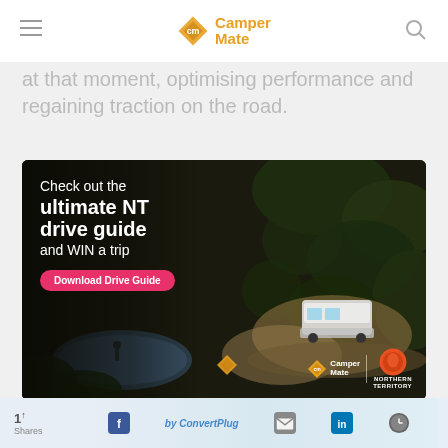CamperMate
at that moment, optimising performance and regaining traction on the road.
[Figure (photo): Aerial photo advertisement for CamperMate's ultimate NT drive guide. Shows aerial view of trees and campsite with a caravan/vehicle. Text overlay reads: Check out the ultimate NT drive guide and WIN a trip. Pink button: Download Drive Guide. CamperMate and Northern Territory logos at bottom right.]
Great performance in a range of on-road conditions
Drives all four wheels increasing torque and
by ConvertPlug